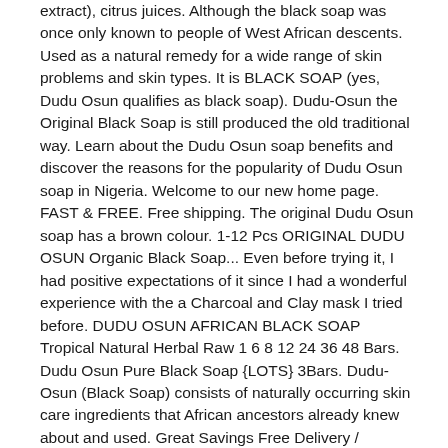extract), citrus juices. Although the black soap was once only known to people of West African descents. Used as a natural remedy for a wide range of skin problems and skin types. It is BLACK SOAP (yes, Dudu Osun qualifies as black soap). Dudu-Osun the Original Black Soap is still produced the old traditional way. Learn about the Dudu Osun soap benefits and discover the reasons for the popularity of Dudu Osun soap in Nigeria. Welcome to our new home page. FAST & FREE. Free shipping. The original Dudu Osun soap has a brown colour. 1-12 Pcs ORIGINAL DUDU OSUN Organic Black Soap... Even before trying it, I had positive expectations of it since I had a wonderful experience with the a Charcoal and Clay mask I tried before. DUDU OSUN AFRICAN BLACK SOAP Tropical Natural Herbal Raw 1 6 8 12 24 36 48 Bars. Dudu Osun Pure Black Soap {LOTS} 3Bars. Dudu-Osun (Black Soap) consists of naturally occurring skin care ingredients that African ancestors already knew about and used. Great Savings Free Delivery / Collection on many items 2020 New Arrivals Dudu Osun Black Soap African Black Soap Organic Morrocan Black Soap 100g , Find Complete Details about 2020 New Arrivals Dudu Osun Black Soap African Black Soap Organic Morrocan Black Soap 100g,Dudu Osun Black Soap,African Black Soap Organic,Charcoal Black Soap from Laundry Soap Supplier or Manufacturer-Shenzhen GMSN Technology Co., Ltd. New Dudu Osun African Black Soap 150g for eczema, Acne, Herbal, fungus 6/12 BARS. $4.99. Dudu-Osun cleanses, nourishes, protects and refreshes your skin. Dudu Osun Black Soap Price. Browse By skincare goal. Dudu-Osun African Black Soap- Pack of 12 . To use Dudu Osun Black African Soap you apply just like you would with any other cleansing product. Dudu Osum Dudu-Osun Black Soap is free from SkinCarisma flagged Allergens Understanding